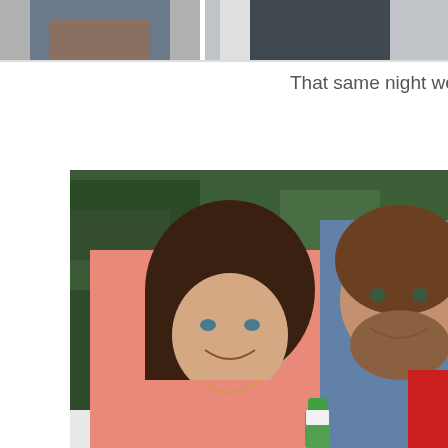[Figure (photo): Partial view of two men in suits/casual wear, cropped at top of page]
That same night we headed to T
[Figure (photo): A young woman in a pink top with long dark hair smiling, standing next to a man in a blue plaid shirt, with trees in the background and another person partially visible on the right]